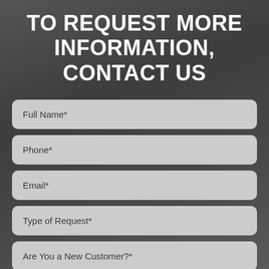TO REQUEST MORE INFORMATION, CONTACT US
Full Name*
Phone*
Email*
Type of Request*
Are You a New Customer?*
How Can We Help?*